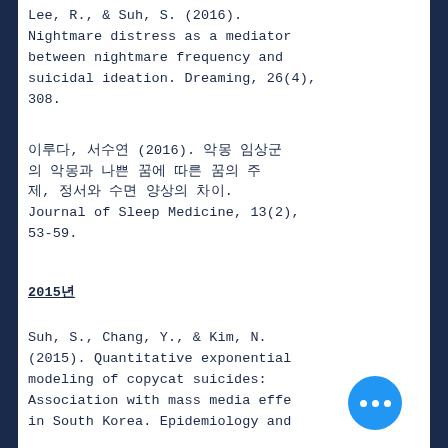Lee, R., & Suh, S. (2016). Nightmare distress as a mediator between nightmare frequency and suicidal ideation. Dreaming, 26(4), 308.
이루다, 서수연 (2016). 악몽 임상군의 악몽과 나쁜 꿈에 따른 꿈의 주제, 정서와 수면 양상의 차이. Journal of Sleep Medicine, 13(2), 53-59.
2015년
Suh, S., Chang, Y., & Kim, N. (2015). Quantitative exponential modeling of copycat suicides: Association with mass media effects in South Korea. Epidemiology and